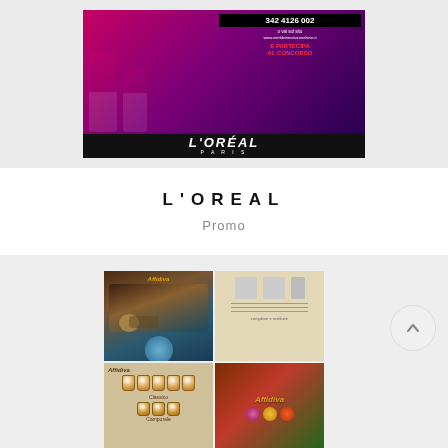[Figure (photo): L'Oreal Elvive hair product advertisement with pink shampoo/conditioner bottles on a purple/magenta gradient background, phone number 342 4126 002, text 'E PARTECIPA AL CONCORSO', L'OREAL PARIS logo at bottom]
L'OREAL
Promo
[Figure (photo): Affidiva brand brochure/catalog shown as a 2x2 grid of panels: top-left shows olive oil pouring over hands with mountain landscape; top-right shows a form/order sheet on beige paper; bottom-left shows Affidiva jars product range labeled Classico and Camporale; bottom-right shows Affidiva logo with colorful food items]